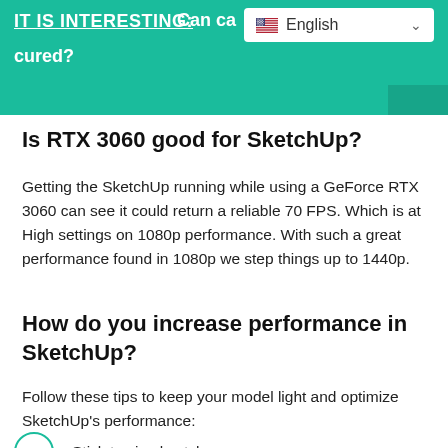IT IS INTERESTING: Can ca… cured?
Is RTX 3060 good for SketchUp?
Getting the SketchUp running while using a GeForce RTX 3060 can see it could return a reliable 70 FPS. Which is at High settings on 1080p performance. With such a great performance found in 1080p we step things up to 1440p.
How do you increase performance in SketchUp?
Follow these tips to keep your model light and optimize SketchUp's performance:
Stick to simple styles. …
Components are your friends. …
Hide geometry you don't currently need.